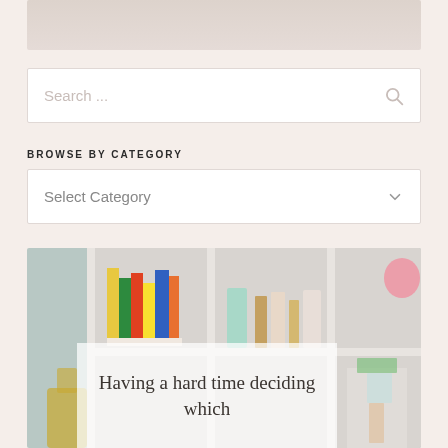[Figure (photo): Top image bar showing partial photo, cropped at top of page]
Search ...
BROWSE BY CATEGORY
Select Category
[Figure (photo): Photo of organized white shelf unit with books, bottles, and decorative items. Overlay text reads: Having a hard time deciding which]
Having a hard time deciding which